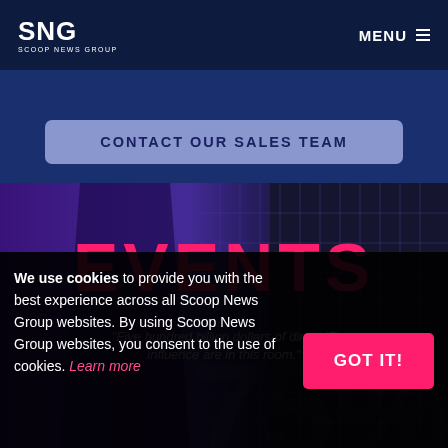SNG SCOOP NEWS GROUP | MENU
CONTACT OUR SALES TEAM
[Figure (illustration): Hero image with dark circuit board background, purple overlay on left, large red EVENTS title, italic quote text about Five hundred billion dollars of direct IT influence are in this room, and a faint 75% watermark]
We use cookies to provide you with the best experience across all Scoop News Group websites. By using Scoop News Group websites, you consent to the use of cookies. Learn more
GOT IT!